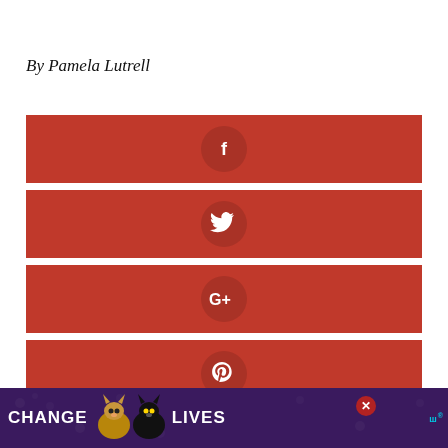By Pamela Lutrell
[Figure (infographic): Social sharing bar with Facebook icon (white f on dark red circle) on red background]
[Figure (infographic): Social sharing bar with Twitter icon (white bird) on red background]
[Figure (infographic): Social sharing bar with Google+ icon on red background]
[Figure (infographic): Social sharing bar with Pinterest icon on red background]
[Figure (infographic): Partial social sharing bar at bottom, cut off]
[Figure (infographic): Advertisement banner: CHANGE LIVES with cat images on dark purple background with paw prints]